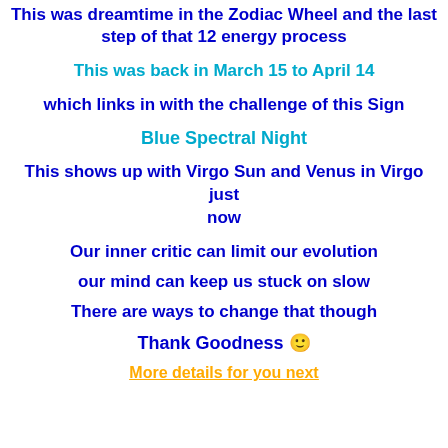This was dreamtime in the Zodiac Wheel and the last step of that 12 energy process
This was back in March 15 to April 14
which links in with the challenge of this Sign
Blue Spectral Night
This shows up with Virgo Sun and Venus in Virgo just now
Our inner critic can limit our evolution
our mind can keep us stuck on slow
There are ways to change that though
Thank Goodness 🙂
More details for you next